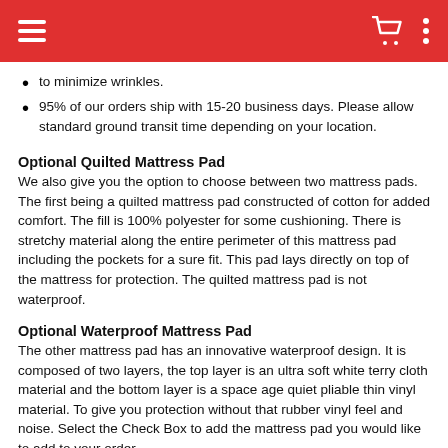Navigation header with hamburger menu, cart icon, and options icon
to minimize wrinkles.
95% of our orders ship with 15-20 business days. Please allow standard ground transit time depending on your location.
Optional Quilted Mattress Pad
We also give you the option to choose between two mattress pads. The first being a quilted mattress pad constructed of cotton for added comfort. The fill is 100% polyester for some cushioning. There is stretchy material along the entire perimeter of this mattress pad including the pockets for a sure fit. This pad lays directly on top of the mattress for protection. The quilted mattress pad is not waterproof.
Optional Waterproof Mattress Pad
The other mattress pad has an innovative waterproof design. It is composed of two layers, the top layer is an ultra soft white terry cloth material and the bottom layer is a space age quiet pliable thin vinyl material. To give you protection without that rubber vinyl feel and noise. Select the Check Box to add the mattress pad you would like to add to your order.
Optional Matching Flannelette Comforter Available
Use the check box to add a matching flannelette comforter to